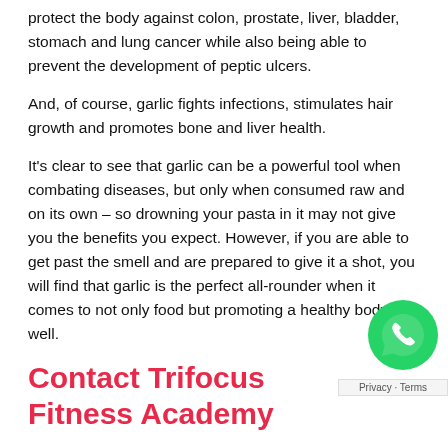protect the body against colon, prostate, liver, bladder, stomach and lung cancer while also being able to prevent the development of peptic ulcers.
And, of course, garlic fights infections, stimulates hair growth and promotes bone and liver health.
It’s clear to see that garlic can be a powerful tool when combating diseases, but only when consumed raw and on its own – so drowning your pasta in it may not give you the benefits you expect. However, if you are able to get past the smell and are prepared to give it a shot, you will find that garlic is the perfect all-rounder when it comes to not only food but promoting a healthy body as well.
Contact Trifocus Fitness Academy
[Figure (logo): WhatsApp green circle icon with phone handset symbol]
If learning more about nutrition is on your radar, then you